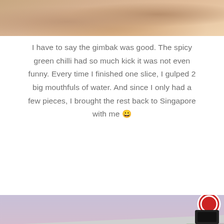[Figure (photo): Close-up photo of hands holding food, warm skin tones, beige/tan background]
I have to say the gimbak was good. The spicy green chilli had so much kick it was not even funny. Every time I finished one slice, I gulped 2 big mouthfuls of water. And since I only had a few pieces, I brought the rest back to Singapore with me 😀
[Figure (photo): Exterior photo of a modern glass-walled transit station or airport terminal taken at dusk/twilight, with a pale purple-pink sky, illuminated interior, white columns, and road/pavement in the foreground. A red circular sign is visible in the upper right corner.]